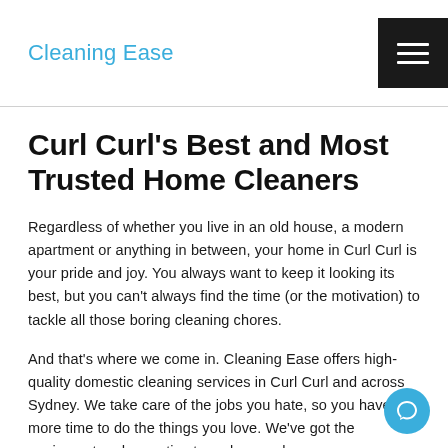Cleaning Ease
Curl Curl's Best and Most Trusted Home Cleaners
Regardless of whether you live in an old house, a modern apartment or anything in between, your home in Curl Curl is your pride and joy. You always want to keep it looking its best, but you can't always find the time (or the motivation) to tackle all those boring cleaning chores.
And that's where we come in. Cleaning Ease offers high-quality domestic cleaning services in Curl Curl and across Sydney. We take care of the jobs you hate, so you have more time to do the things you love. We've got the equipment and expertise to make your home